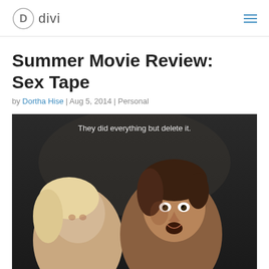Divi
Summer Movie Review: Sex Tape
by Dortha Hise | Aug 5, 2014 | Personal
[Figure (photo): Movie poster for Sex Tape showing two actors (a man and a woman) from the shoulders up against a dark background, with tagline text 'They did everything but delete it.' at the top in white.]